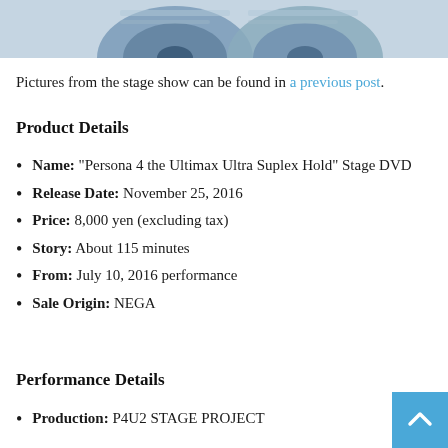[Figure (photo): Partial view of two circular DVD/disc images with dark blue tones at the top of the page]
Pictures from the stage show can be found in a previous post.
Product Details
Name: “Persona 4 the Ultimax Ultra Suplex Hold” Stage DVD
Release Date: November 25, 2016
Price: 8,000 yen (excluding tax)
Story: About 115 minutes
From: July 10, 2016 performance
Sale Origin: NEGA
Performance Details
Production: P4U2 STAGE PROJECT